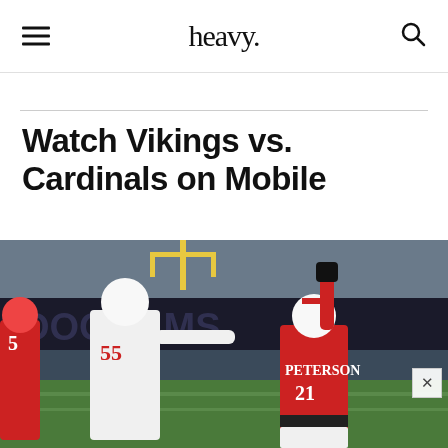heavy.
Watch Vikings vs. Cardinals on Mobile
[Figure (photo): Arizona Cardinals players on field celebrating, including player #21 PETERSON raising his fist, and player #55 in white Cardinals uniforms, with stadium crowd and signage in background.]